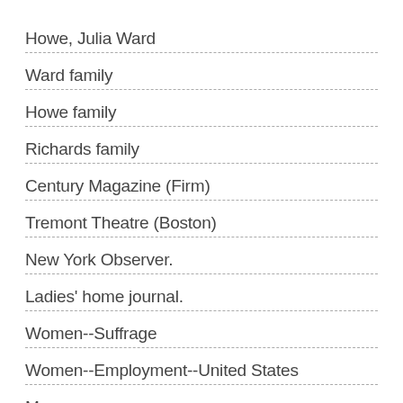Howe, Julia Ward
Ward family
Howe family
Richards family
Century Magazine (Firm)
Tremont Theatre (Boston)
New York Observer.
Ladies' home journal.
Women--Suffrage
Women--Employment--United States
More...